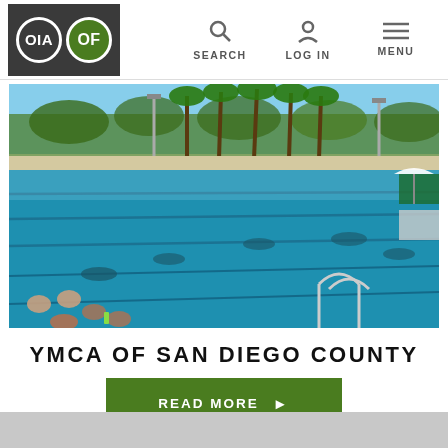OIA OF | SEARCH | LOG IN | MENU
[Figure (photo): Outdoor swimming pool with multiple lanes, swimmers, palm trees in the background, and blue sky. YMCA of San Diego County facility.]
YMCA OF SAN DIEGO COUNTY
READ MORE ▶